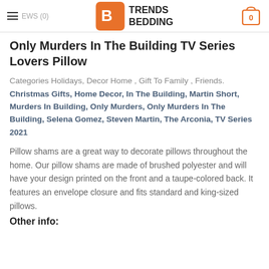REVIEWS (0) | TRENDS BEDDING | 0
Only Murders In The Building TV Series Lovers Pillow
Categories Holidays, Decor Home , Gift To Family , Friends. Christmas Gifts, Home Decor, In The Building, Martin Short, Murders In Building, Only Murders, Only Murders In The Building, Selena Gomez, Steven Martin, The Arconia, TV Series 2021
Pillow shams are a great way to decorate pillows throughout the home. Our pillow shams are made of brushed polyester and will have your design printed on the front and a taupe-colored back. It features an envelope closure and fits standard and king-sized pillows.
Other info: